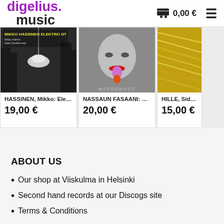digelius music  0,00 €  ☰
[Figure (photo): Album cover for HASSINEN Mikko Elektro - dark forest scene with hanging lamp]
HASSINEN, Mikko: Elektro ...
19,00 €
[Figure (photo): Album cover for NASSAUN FASAANI: Nassonaut - colorful mask/face illustration]
NASSAUN FASAANI: Nasso...
20,00 €
[Figure (photo): Album cover for HILLE, Sid: G - gold/yellow streaks]
HILLE, Sid: G...
15,00 €
ABOUT US
Our shop at Viiskulma in Helsinki
Second hand records at our Discogs site
Terms & Conditions